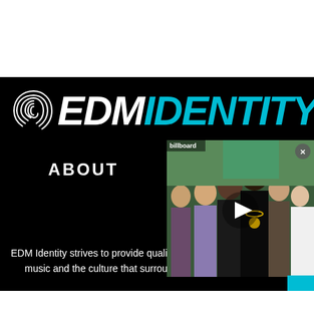[Figure (logo): EDM Identity logo on black background — fingerprint icon on left, 'EDM' in white bold italic, 'IDENTITY' in cyan/blue bold italic]
ABOUT
[Figure (photo): Video thumbnail showing a crowd scene with a person in the foreground wearing dark clothing and a gold chain, with a play button overlay. Billboard logo visible in top left corner.]
EDM Identity strives to provide quality coverage of electronic dance music and the culture that surrounds it in the US and abroad.